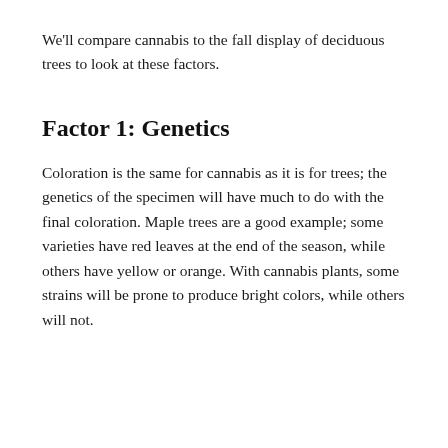We'll compare cannabis to the fall display of deciduous trees to look at these factors.
Factor 1: Genetics
Coloration is the same for cannabis as it is for trees; the genetics of the specimen will have much to do with the final coloration. Maple trees are a good example; some varieties have red leaves at the end of the season, while others have yellow or orange. With cannabis plants, some strains will be prone to produce bright colors, while others will not.